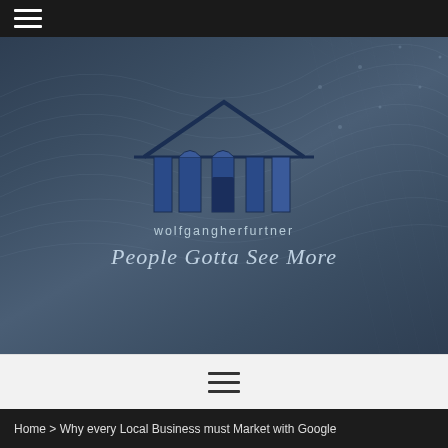[Figure (logo): Wolfgang Herfurtner logo with house icon, tagline 'People Gotta See More', set against a dark blue-grey network mesh background]
Home > Why every Local Business must Market with Google